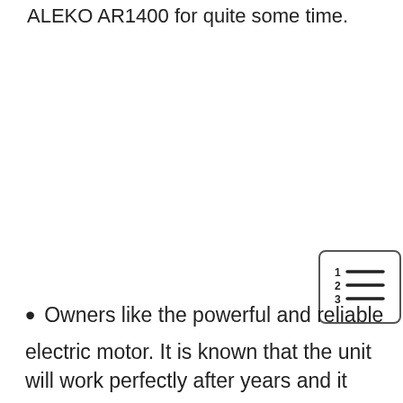ALEKO AR1400 for quite some time.
[Figure (other): Icon showing a numbered list symbol (1, 2, 3 with horizontal lines) inside a rounded rectangle border]
Owners like the powerful and reliable electric motor. It is known that the unit will work perfectly after years and it